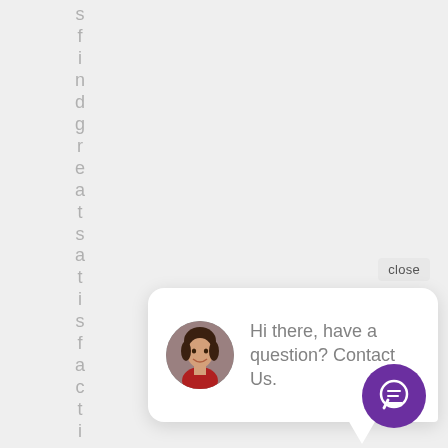s f i n d g r e a t s a t i s f a c t i o
close
Hi there, have a question? Contact Us.
[Figure (illustration): Purple circular chat button with speech bubble icon]